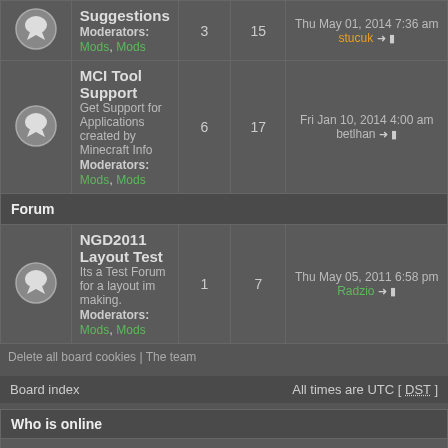| Icon | Forum | Topics | Posts | Last post |
| --- | --- | --- | --- | --- |
| [icon] | Suggestions
Moderators: Mods, Mods | 3 | 15 | Thu May 01, 2014 7:36 am
stucuk |
| [icon] | MCI Tool Support
Get Support for Applications created by Minecraft Info
Moderators: Mods, Mods | 6 | 17 | Fri Jan 10, 2014 4:00 am
betlhan |
| [section] | Forum |  |  |  |
| [icon] | NGD2011 Layout Test
Its a Test Forum for a layout im making.
Moderators: Mods, Mods | 1 | 7 | Thu May 05, 2011 6:58 pm
Radzio |
Delete all board cookies | The team
Board index    All times are UTC [ DST ]
Who is online
In total there are 13 users online :: 0 registered, 0 hidden and 13 guests (based on users active over the past 5 minutes)